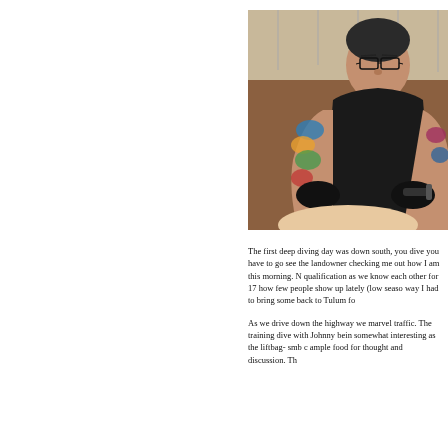[Figure (photo): A tattooed person wearing glasses and a black sleeveless top, leaning forward while working on a tattoo on someone's skin. The tattooist has colorful tattoo sleeves on both arms.]
The first deep diving day was down south, you dive you have to go see the landowner checking me out how I am this morning. N qualification as we know each other for 17 how few people show up lately (low seaso way I had to bring some back to Tulum fo
As we drive down the highway we marvel traffic. The training dive with Johnny bein somewhat interesting as the liftbag- smb c ample food for thought and discussion. Th